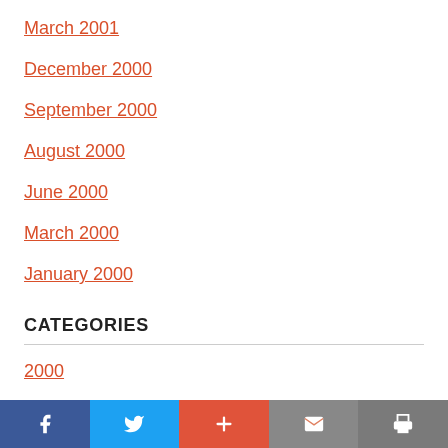March 2001
December 2000
September 2000
August 2000
June 2000
March 2000
January 2000
CATEGORIES
2000